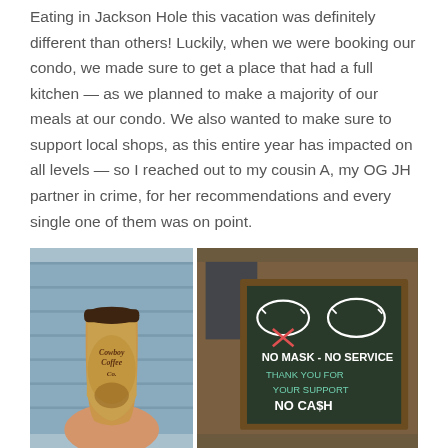Eating in Jackson Hole this vacation was definitely different than others! Luckily, when we were booking our condo, we made sure to get a place that had a full kitchen — as we planned to make a majority of our meals at our condo. We also wanted to make sure to support local shops, as this entire year has impacted on all levels — so I reached out to my cousin A, my OG JH partner in crime, for her recommendations and every single one of them was on point.
[Figure (photo): Two side-by-side photos: left shows a hand holding a Cowboy Coffee Co. to-go cup against a blue wood-panel background; right shows a chalkboard sign outside a shop reading 'NO MASK - NO SERVICE / THANK YOU FOR YOUR SUPPORT / NO CASH' with chalk drawings of masks.]